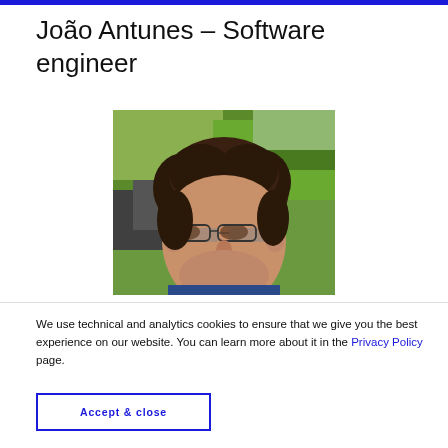João Antunes – Software engineer
[Figure (photo): Close-up photo of a man with curly brown hair and glasses, outdoors with green foliage in the background]
We use technical and analytics cookies to ensure that we give you the best experience on our website. You can learn more about it in the Privacy Policy page.
Accept & close